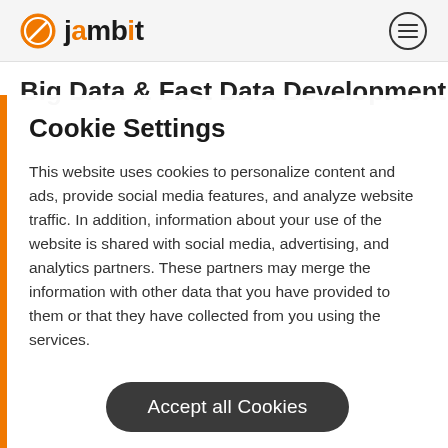jambit
Big Data & Fast Data Development
Cookie Settings
This website uses cookies to personalize content and ads, provide social media features, and analyze website traffic. In addition, information about your use of the website is shared with social media, advertising, and analytics partners. These partners may merge the information with other data that you have provided to them or that they have collected from you using the services.
Accept all Cookies